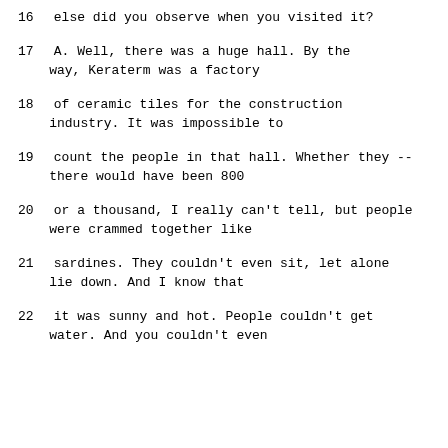16    else did you observe when you visited it?
17        A.   Well, there was a huge hall.  By the way, Keraterm was a factory
18      of ceramic tiles for the construction industry.  It was impossible to
19      count the people in that hall.  Whether they -- there would have been 800
20      or a thousand, I really can't tell, but people were crammed together like
21      sardines.  They couldn't even sit, let alone lie down.  And I know that
22    it was sunny and hot.  People couldn't get water.  And you couldn't even